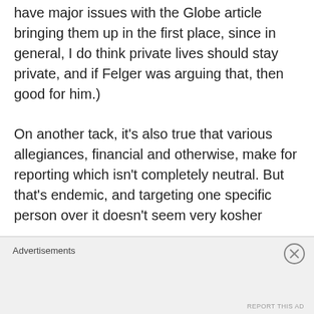have major issues with the Globe article bringing them up in the first place, since in general, I do think private lives should stay private, and if Felger was arguing that, then good for him.)
On another tack, it's also true that various allegiances, financial and otherwise, make for reporting which isn't completely neutral. But that's endemic, and targeting one specific person over it doesn't seem very kosher
Advertisements